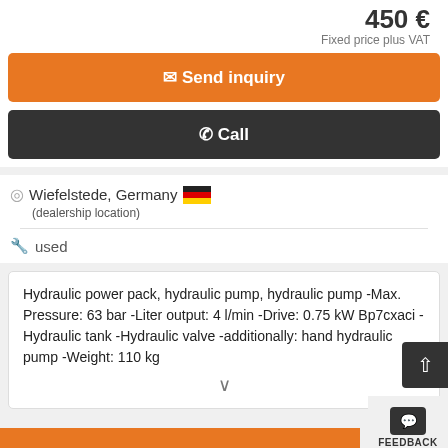450 €
Fixed price plus VAT
✉ Send inquiry
✆ Call
Wiefelstede, Germany
(dealership location)
used
Hydraulic power pack, hydraulic pump, hydraulic pump -Max. Pressure: 63 bar -Liter output: 4 l/min -Drive: 0.75 kW Bp7cxaci -Hydraulic tank -Hydraulic valve -additionally: hand hydraulic pump -Weight: 110 kg
FEEDBACK